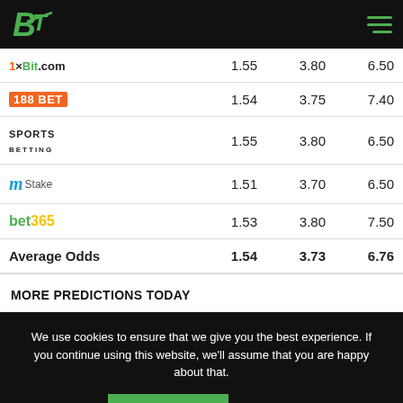BetTips logo and navigation menu
| Bookmaker | Odds 1 | Odds X | Odds 2 |
| --- | --- | --- | --- |
| 1xBit.com | 1.55 | 3.80 | 6.50 |
| 188BET | 1.54 | 3.75 | 7.40 |
| Sports Betting | 1.55 | 3.80 | 6.50 |
| MyStake | 1.51 | 3.70 | 6.50 |
| bet365 | 1.53 | 3.80 | 7.50 |
| Average Odds | 1.54 | 3.73 | 6.76 |
MORE PREDICTIONS TODAY
We use cookies to ensure that we give you the best experience. If you continue using this website, we'll assume that you are happy about that.
IT'S OK | Privacy